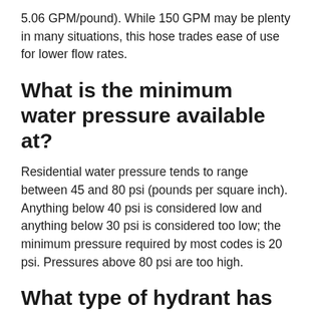5.06 GPM/pound). While 150 GPM may be plenty in many situations, this hose trades ease of use for lower flow rates.
What is the minimum water pressure available at?
Residential water pressure tends to range between 45 and 80 psi (pounds per square inch). Anything below 40 psi is considered low and anything below 30 psi is considered too low; the minimum pressure required by most codes is 20 psi. Pressures above 80 psi are too high.
What type of hydrant has water in the barrel and